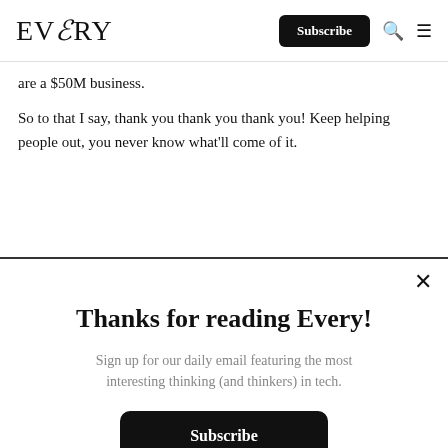EVERY | Subscribe
are a $50M business.
So to that I say, thank you thank you thank you! Keep helping people out, you never know what'll come of it.
Thanks for reading Every!
Sign up for our daily email featuring the most interesting thinking (and thinkers) in tech.
Subscribe
Already a subscriber? Login